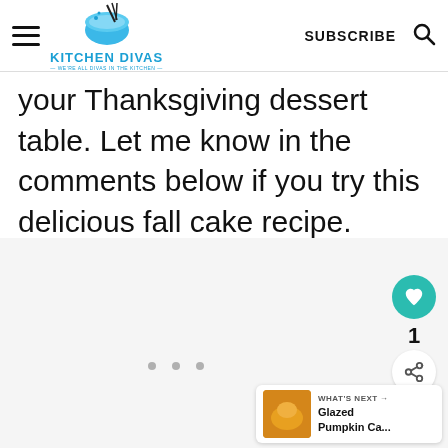KITCHEN DIVAS — WE'RE ALL DIVAS IN THE KITCHEN — | SUBSCRIBE
your Thanksgiving dessert table. Let me know in the comments below if you try this delicious fall cake recipe.
[Figure (screenshot): Gray content area with three dots (loading indicator) and social interaction buttons (heart, share count '1', share icon). Bottom right shows 'WHAT'S NEXT → Glazed Pumpkin Ca...' card.]